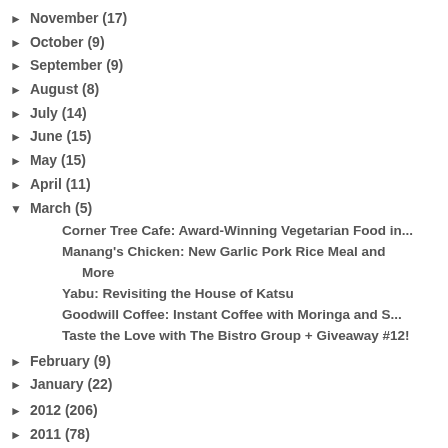► November (17)
► October (9)
► September (9)
► August (8)
► July (14)
► June (15)
► May (15)
► April (11)
▼ March (5)
Corner Tree Cafe: Award-Winning Vegetarian Food in...
Manang's Chicken: New Garlic Pork Rice Meal and More
Yabu: Revisiting the House of Katsu
Goodwill Coffee: Instant Coffee with Moringa and S...
Taste the Love with The Bistro Group + Giveaway #12!
► February (9)
► January (22)
► 2012 (206)
► 2011 (78)